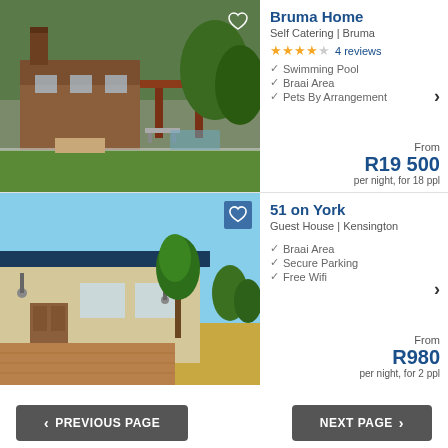[Figure (photo): Bruma Home exterior showing a brick house with green lawn and trees]
Bruma Home
Self Catering | Bruma
★★★½☆ 4 reviews
Swimming Pool
Braai Area
Pets By Arrangement
From R19 500 per night, for 18 ppl
[Figure (photo): 51 on York guest house exterior showing a cream-coloured house with a tree and blue sky]
51 on York
Guest House | Kensington
Braai Area
Secure Parking
Free Wifi
From R980 per night, for 2 ppl
< PREVIOUS PAGE
NEXT PAGE >